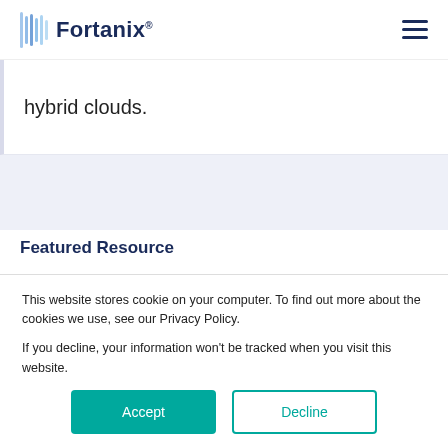Fortanix
hybrid clouds.
Featured Resource
EBook: Data Privacy in
This website stores cookie on your computer. To find out more about the cookies we use, see our Privacy Policy.

If you decline, your information won't be tracked when you visit this website.